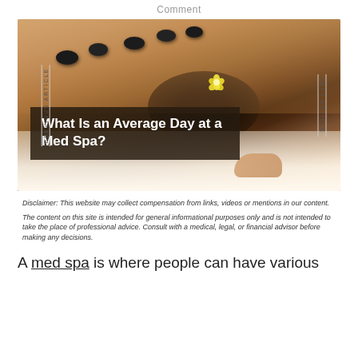Comment
[Figure (photo): Woman lying face down receiving a hot stone massage treatment, with black basalt stones placed along her back, a white flower in her hair, resting on white towels. Overlay text reads 'What Is an Average Day at a Med Spa?']
Disclaimer: This website may collect compensation from links, videos or mentions in our content.
The content on this site is intended for general informational purposes only and is not intended to take the place of professional advice. Consult with a medical, legal, or financial advisor before making any decisions.
A med spa is where people can have various